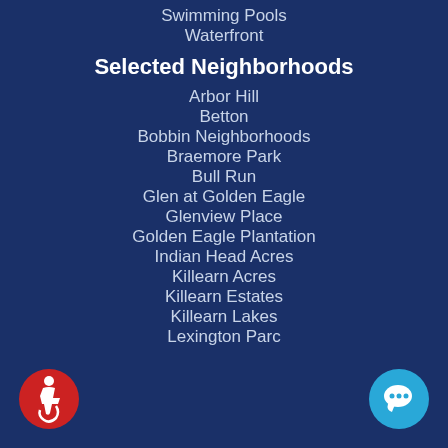Swimming Pools
Waterfront
Selected Neighborhoods
Arbor Hill
Betton
Bobbin Neighborhoods
Braemore Park
Bull Run
Glen at Golden Eagle
Glenview Place
Golden Eagle Plantation
Indian Head Acres
Killearn Acres
Killearn Estates
Killearn Lakes
Lexington Parc
[Figure (illustration): Red circular accessibility wheelchair icon in bottom-left corner]
[Figure (illustration): Blue circular chat/speech bubble icon in bottom-right corner]